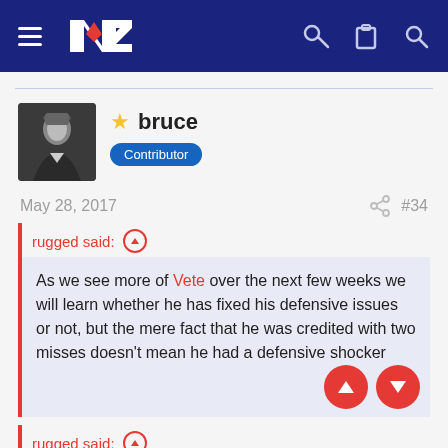NZ (logo) navigation header with hamburger menu, key, clipboard, and search icons
bruce Contributor
May 28, 2017  #34
rugged said: ↑
As we see more of Vete over the next few weeks we will learn whether he has fixed his defensive issues or not, but the mere fact that he was credited with two misses doesn't mean he had a defensive shocker
rugged said: ↑
Not every missed tackle is a bad one. If a faster player palms